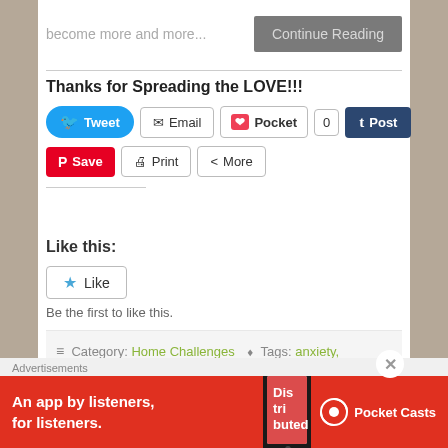become more and more...
Continue Reading
Thanks for Spreading the LOVE!!!
Tweet | Email | Pocket | 0 | Post | Save | Print | More
Like this:
Like
Be the first to like this.
Category: Home Challenges  Tags: anxiety, Christmas, chronic illness, chronic lyme, holidays,
Advertisements
[Figure (other): Pocket Casts advertisement banner: 'An app by listeners, for listeners.' with an image of a phone showing a podcast app and the Pocket Casts logo]